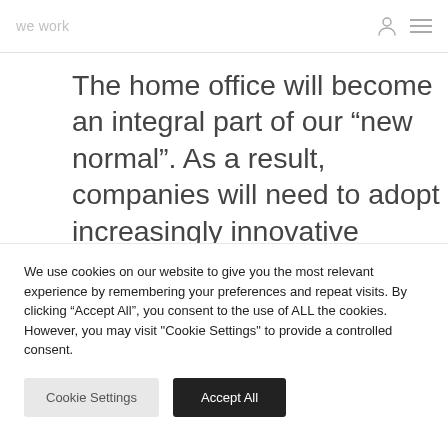we work
The home office will become an integral part of our “new normal”. As a result, companies will need to adopt increasingly innovative technologies and work culture to support remote
We use cookies on our website to give you the most relevant experience by remembering your preferences and repeat visits. By clicking “Accept All”, you consent to the use of ALL the cookies. However, you may visit "Cookie Settings" to provide a controlled consent.
Cookie Settings | Accept All